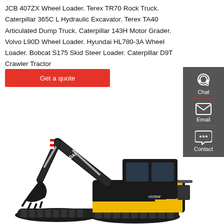JCB 407ZX Wheel Loader. Terex TR70 Rock Truck. Caterpillar 365C L Hydraulic Excavator. Terex TA40 Articulated Dump Truck. Caterpillar 143H Motor Grader. Volvo L90D Wheel Loader. Hyundai HL780-3A Wheel Loader. Bobcat S175 Skid Steer Loader. Caterpillar D9T Crawler Tractor
[Figure (illustration): Red 'Get a quote' button]
[Figure (photo): Hyundai HX55W mini excavator, black and yellow, on white background with HYUNDAI branding visible on arm]
[Figure (infographic): Dark grey sidebar with Chat (headset icon), Email (envelope icon), and Contact (speech bubble icon) options separated by red dividers]